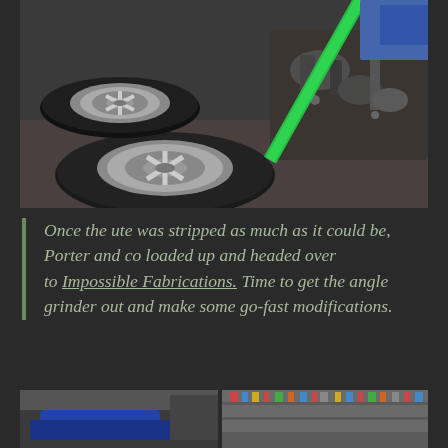[Figure (photo): Car wheels and tires removed from a vehicle, sitting on a garage floor. There are two alloy wheels with tires visible, and automotive suspension/brake components in the background. A bright green strap or bar is visible diagonally across the right side of the image.]
Once the ute was stripped as much as it could be, Porter and co loaded up and headed over toÂ Impossible Fabrications.Â Time to get the angle grinder out and make some go-fast modifications.
[Figure (photo): Partial view of a car workshop or garage, showing what appears to be a blue vehicle and shelving with automotive supplies in the background.]